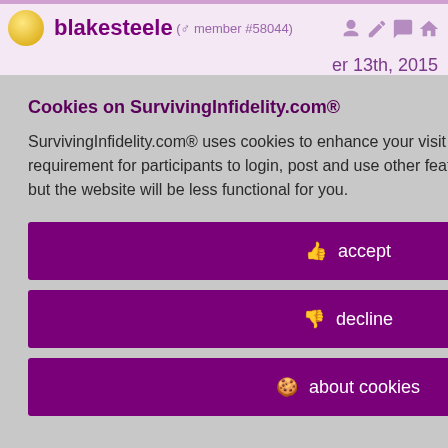blakesteele (male member #58044)
er 13th, 2015
nies" I used to they want, his cause my what I
ow "praying for icted and Gods will. And prayers for tion (and ; convicted of).
Cookies on SurvivingInfidelity.com®
SurvivingInfidelity.com® uses cookies to enhance your visit to our website. This is a requirement for participants to login, post and use other features. Visitors may opt out, but the website will be less functional for you.
accept
decline
about cookies
Policy